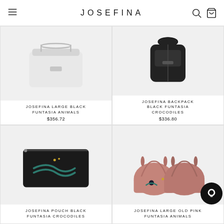JOSEFINA
[Figure (photo): Josefina Large Black Funtasia Animals bag product photo on light background]
JOSEFINA LARGE BLACK FUNTASIA ANIMALS
$356.72
[Figure (photo): Josefina Backpack Black Funtasia Crocodiles product photo on light background]
JOSEFINA BACKPACK BLACK FUNTASIA CROCODILES
$336.80
[Figure (photo): Josefina Pouch Black Funtasia Crocodiles product photo - black leather pouch with green crocodile embroidery]
JOSEFINA POUCH BLACK FUNTASIA CROCODILES
[Figure (photo): Josefina Large Old Pink Funtasia Animals - two pink dome bags with animal embroidery]
JOSEFINA LARGE OLD PINK FUNTASIA ANIMALS